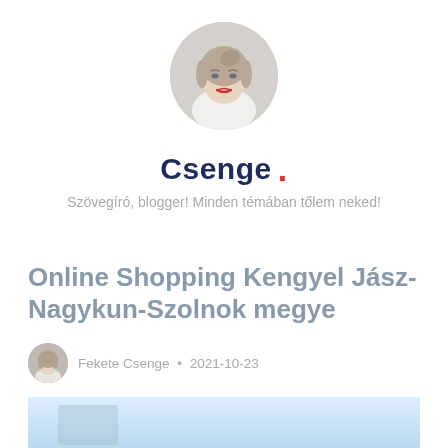[Figure (photo): Circular profile photo of a blonde woman in white clothing, styled updo, red lipstick, on a light background]
Csenge .
Szövegíró, blogger! Minden témában tőlem neked!
Online Shopping Kengyel Jász-Nagykun-Szolnok megye
[Figure (photo): Small circular author avatar thumbnail of a woman]
Fekete Csenge • 2021-10-23
[Figure (photo): Article header image with light blue/cyan background, partially visible]